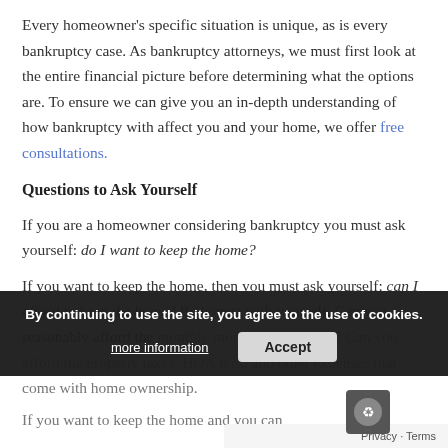Every homeowner's specific situation is unique, as is every bankruptcy case. As bankruptcy attorneys, we must first look at the entire financial picture before determining what the options are. To ensure we can give you an in-depth understanding of how bankruptcy with affect you and your home, we offer free consultations.
Questions to Ask Yourself
If you are a homeowner considering bankruptcy you must ask yourself: do I want to keep the home?
If you want to keep the home, then you must ask yourself: can I afford to keep the home? Be honest with yourself. Can you reasonably afford the monthly mortgage payments? Can you afford the property taxes, HOA fees, and other expenses that come with home ownership.
If you want to keep the home and you can...